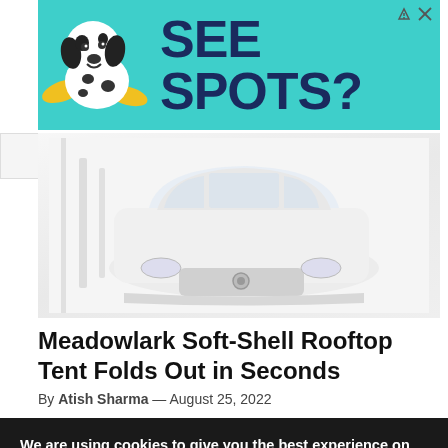[Figure (illustration): Advertisement banner with a Dalmatian dog and teal background, text reading SEE SPOTS?]
[Figure (photo): A white SUV/car photographed from the front in a faded, high-key outdoor setting]
Meadowlark Soft-Shell Rooftop Tent Folds Out in Seconds
By Atish Sharma — August 25, 2022
We are using cookies to give you the best experience on our website.
You can find out more about which cookies we are using or switch them off in settings.
Accept